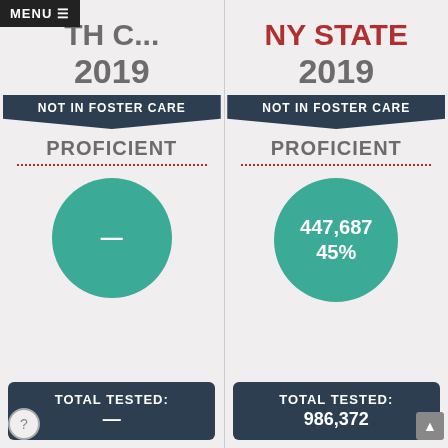MENU ☰
TH C...
2019
NOT IN FOSTER CARE
PROFICIENT
[Figure (infographic): Teal circle with a white dash, indicating suppressed/unavailable data for North C... 2019 Not In Foster Care Proficient]
TOTAL TESTED: —
NY STATE
2019
NOT IN FOSTER CARE
PROFICIENT
[Figure (infographic): Teal circle showing 447,687 and 45% for NY State 2019 Not In Foster Care Proficient]
TOTAL TESTED: 986,372